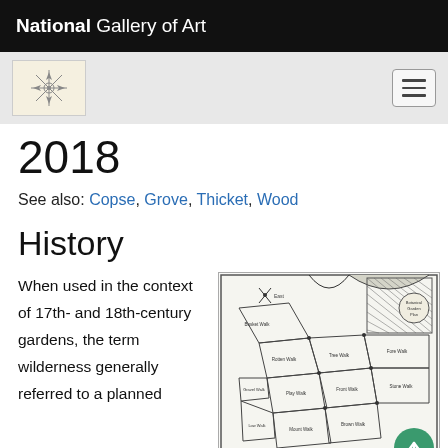National Gallery of Art
2018
See also: Copse, Grove, Thicket, Wood
History
When used in the context of 17th- and 18th-century gardens, the term wilderness generally referred to a planned
[Figure (map): Historical garden map showing a planned wilderness layout with labeled sections including paths and divided garden plots, 17th-18th century style diagram.]